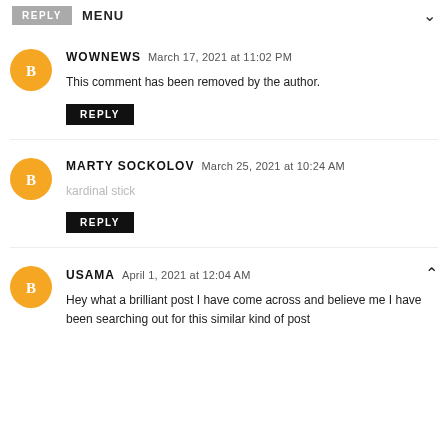MENU
WOWNEWS March 17, 2021 at 11:02 PM
This comment has been removed by the author.
REPLY
MARTY SOCKOLOV March 25, 2021 at 10:24 AM
kardinal stick
REPLY
USAMA April 1, 2021 at 12:04 AM
Hey what a brilliant post I have come across and believe me I have been searching out for this similar kind of post